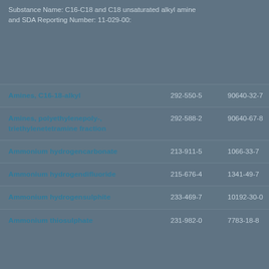Substance Name: C16-C18 and C18 unsaturated alkyl amine and SDA Reporting Number: 11-029-00:
| Substance Name | EC Number | CAS Number |
| --- | --- | --- |
| Amines, C16-18-alkyl | 292-550-5 | 90640-32-7 |
| Amines, polyethylenepoly-, triethylenetetramine fraction | 292-588-2 | 90640-67-8 |
| Ammonium hydrogencarbonate | 213-911-5 | 1066-33-7 |
| Ammonium hydrogendifluoride | 215-676-4 | 1341-49-7 |
| Ammonium hydrogensulphite | 233-469-7 | 10192-30-0 |
| Ammonium thiosulphate | 231-982-0 | 7783-18-8 |